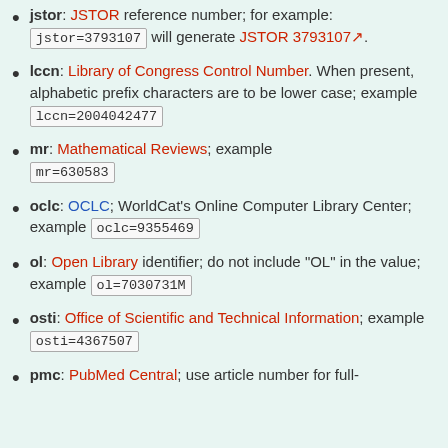jstor: JSTOR reference number; for example: jstor=3793107 will generate JSTOR 3793107.
lccn: Library of Congress Control Number. When present, alphabetic prefix characters are to be lower case; example lccn=2004042477
mr: Mathematical Reviews; example mr=630583
oclc: OCLC; WorldCat's Online Computer Library Center; example oclc=9355469
ol: Open Library identifier; do not include "OL" in the value; example ol=7030731M
osti: Office of Scientific and Technical Information; example osti=4367507
pmc: PubMed Central; use article number for full-